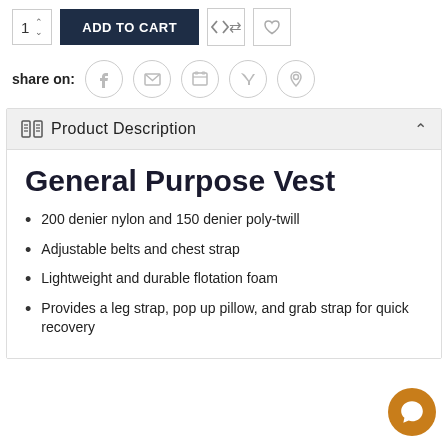[Figure (screenshot): Add to cart toolbar with quantity box showing '1', an 'ADD TO CART' button, a transfer/compare icon button, and a heart/wishlist icon button]
share on:
[Figure (infographic): Social share icons in circles: Facebook, Email/Envelope, Print, Twitter, Pinterest]
Product Description
General Purpose Vest
200 denier nylon and 150 denier poly-twill
Adjustable belts and chest strap
Lightweight and durable flotation foam
Provides a leg strap, pop up pillow, and grab strap for quick recovery